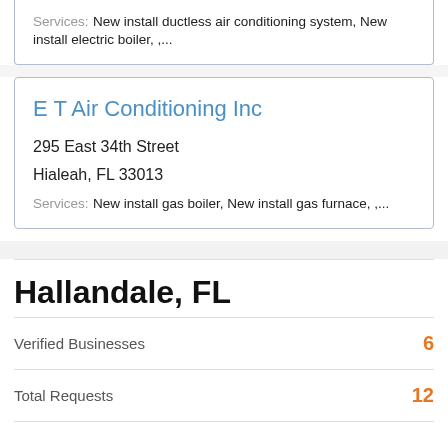Services: New install ductless air conditioning system, New install electric boiler, ,...
E T Air Conditioning Inc
295 East 34th Street
Hialeah, FL 33013
Services: New install gas boiler, New install gas furnace, ,...
Hallandale, FL
Verified Businesses 6
Total Requests 12